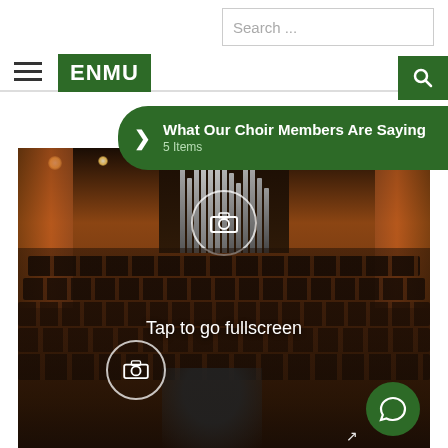[Figure (screenshot): ENMU university website screenshot showing header with hamburger menu, ENMU logo, search bar, green search button, green banner reading 'What Our Choir Members Are Saying / 5 Items', and a large photo of a choir performing in a concert hall with camera overlay icons and 'Tap to go fullscreen' text, plus a green chat button in bottom right.]
Search ...
ENMU
What Our Choir Members Are Saying
5 Items
Tap to go fullscreen